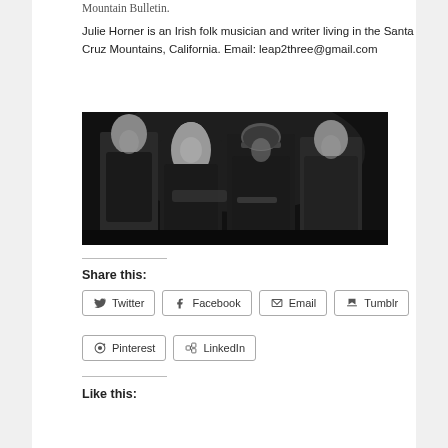Mountain Bulletin.
Julie Horner is an Irish folk musician and writer living in the Santa Cruz Mountains, California. Email: leap2three@gmail.com
[Figure (photo): Black and white group photo of four people standing together in dark clothing against a dark background.]
Share this:
Twitter  Facebook  Email  Tumblr  Pinterest  LinkedIn
Like this: